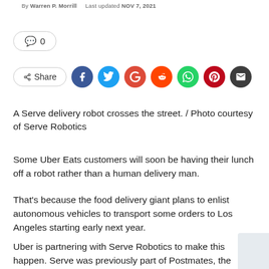By Warren P. Morrill   Last updated NOV 7, 2021
💬 0
< Share [Facebook] [Twitter] [Google+] [Reddit] [WhatsApp] [Pinterest] [Email]
A Serve delivery robot crosses the street. / Photo courtesy of Serve Robotics
Some Uber Eats customers will soon be having their lunch off a robot rather than a human delivery man.
That's because the food delivery giant plans to enlist autonomous vehicles to transport some orders to Los Angeles starting early next year.
Uber is partnering with Serve Robotics to make this happen. Serve was previously part of Postmates, the delivery company Uber acquired in November. Uber then separated Serve as an